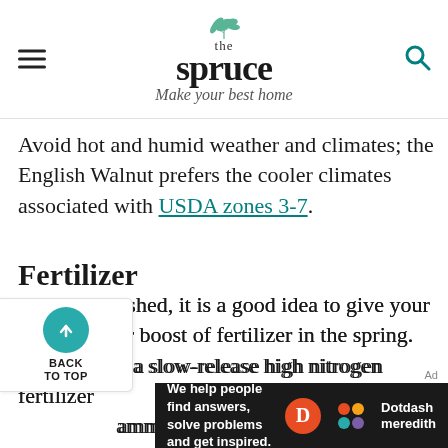the spruce — Make your best home
Avoid hot and humid weather and climates; the English Walnut prefers the cooler climates associated with USDA zones 3-7.
Fertilizer
Once established, it is a good idea to give your tree a regular boost of fertilizer in the spring. Using a slow-release high nitrogen fertilizer like ammonium sulfate will help keep your tree growing vigorously through the growing season.
[Figure (other): Back to top button with teal circle and upward arrow, labeled BACK TO TOP]
[Figure (other): Dotdash Meredith advertisement banner: We help people find answers, solve problems and get inspired.]